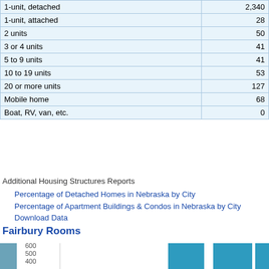|  |  |
| --- | --- |
| 1-unit, detached | 2,340 |
| 1-unit, attached | 28 |
| 2 units | 50 |
| 3 or 4 units | 41 |
| 5 to 9 units | 41 |
| 10 to 19 units | 53 |
| 20 or more units | 127 |
| Mobile home | 68 |
| Boat, RV, van, etc. | 0 |
Additional Housing Structures Reports
Percentage of Detached Homes in Nebraska by City
Percentage of Apartment Buildings & Condos in Nebraska by City
Download Data
Fairbury Rooms
[Figure (bar-chart): Fairbury Rooms]